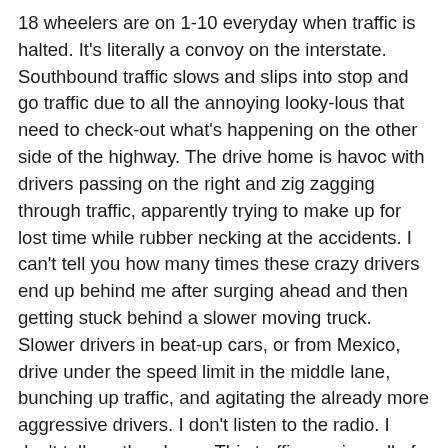18 wheelers are on 1-10 everyday when traffic is halted. It's literally a convoy on the interstate. Southbound traffic slows and slips into stop and go traffic due to all the annoying looky-lous that need to check-out what's happening on the other side of the highway. The drive home is havoc with drivers passing on the right and zig zagging through traffic, apparently trying to make up for lost time while rubber necking at the accidents. I can't tell you how many times these crazy drivers end up behind me after surging ahead and then getting stuck behind a slower moving truck. Slower drivers in beat-up cars, or from Mexico, drive under the speed limit in the middle lane, bunching up traffic, and agitating the already more aggressive drivers. I don't listen to the radio. I don't talk on the phone. This traffic requires all of my attention. I'm starving when I arrive home. And a little frazzled after participating in the simulated NASCAR race from Phoenix to Tucson. As the old adage goes—TGIF—Thank God it's Friday. Jay's not ready to go out, and I'm starving, so I warm up a cup of homemade chicken broth. I drink it slowly while Jay showers and I read the newspaper. The broth is quite delicious and soothing.  It evens out my mood. We have a